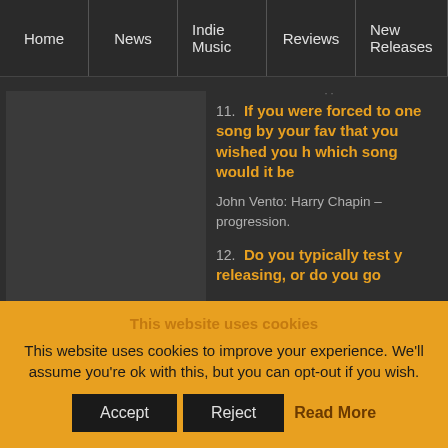Home | News | Indie Music | Reviews | New Releases
[Figure (photo): Dark square image placeholder on left side of content area]
11. If you were forced to one song by your fav that you wished you h which song would it be
John Vento: Harry Chapin – progression.
12. Do you typically test y releasing, or do you go
This website uses cookies
This website uses cookies to improve your experience. We'll assume you're ok with this, but you can opt-out if you wish.
Accept | Reject | Read More